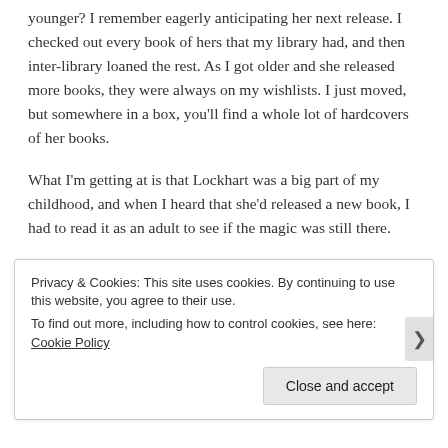younger? I remember eagerly anticipating her next release. I checked out every book of hers that my library had, and then inter-library loaned the rest. As I got older and she released more books, they were always on my wishlists. I just moved, but somewhere in a box, you'll find a whole lot of hardcovers of her books.
What I'm getting at is that Lockhart was a big part of my childhood, and when I heard that she'd released a new book, I had to read it as an adult to see if the magic was still there.
It was.
Privacy & Cookies: This site uses cookies. By continuing to use this website, you agree to their use.
To find out more, including how to control cookies, see here: Cookie Policy